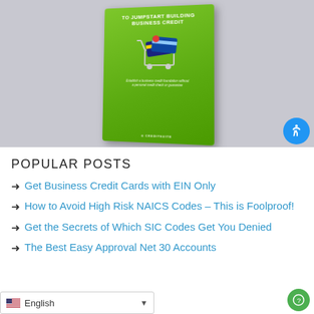[Figure (photo): Photo of a green book cover titled 'TO JUMPSTART BUILDING BUSINESS CREDIT' with a shopping cart containing credit cards on the cover, displayed against a light gray background.]
POPULAR POSTS
→ Get Business Credit Cards with EIN Only
→ How to Avoid High Risk NAICS Codes – This is Foolproof!
→ Get the Secrets of Which SIC Codes Get You Denied
→ The Best Easy Approval Net 30 Accounts